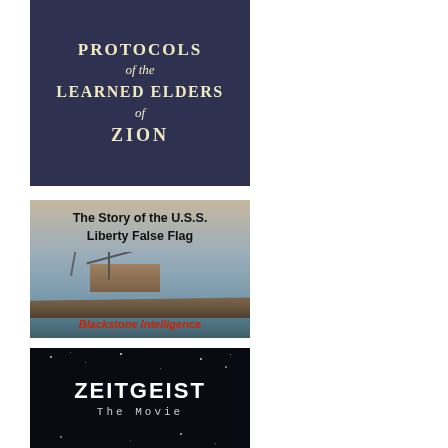[Figure (photo): Book cover: 'Protocols of the Learned Elders of Zion' - dark navy blue background with cream/tan text in serif font]
[Figure (photo): Video/book thumbnail: 'The Story of the U.S.S. Liberty False Flag' - shows a damaged naval ship on water, with 'Blackstone Intelligence' text in red at bottom]
[Figure (photo): Movie poster/thumbnail: 'ZEITGEIST The Movie' - black background with white text and small stars]